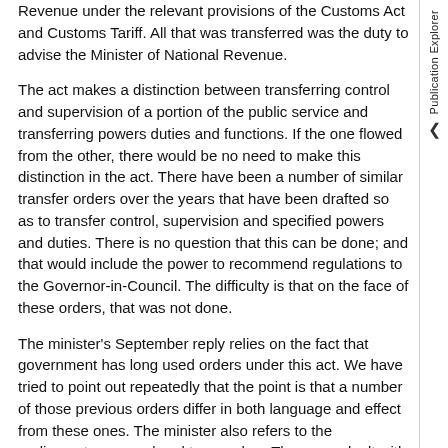Revenue under the relevant provisions of the Customs Act and Customs Tariff. All that was transferred was the duty to advise the Minister of National Revenue.
The act makes a distinction between transferring control and supervision of a portion of the public service and transferring powers duties and functions. If the one flowed from the other, there would be no need to make this distinction in the act. There have been a number of similar transfer orders over the years that have been drafted so as to transfer control, supervision and specified powers and duties. There is no question that this can be done; and that would include the power to recommend regulations to the Governor-in-Council. The difficulty is that on the face of these orders, that was not done.
The minister's September reply relies on the fact that government has long used orders under this act. We have tried to point out repeatedly that the point is that a number of those previous orders differ in both language and effect from these ones. The minister also refers to the parliamentary record and to case law. These are dealt with in some detail in the joint chairs' last letter and simply reasserting a reliance on these sources is not really a discussion or a refutation of the